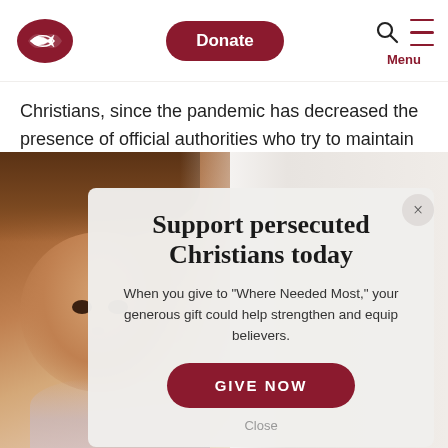[Figure (screenshot): Website header with fish logo in red, a dark red rounded Donate button, search icon, hamburger menu lines, and Menu label in dark red]
Christians, since the pandemic has decreased the presence of official authorities who try to maintain
[Figure (photo): Close-up photo of a young girl with brown hair looking at camera, warm brown tones]
Support persecuted Christians today
When you give to "Where Needed Most," your generous gift could help strengthen and equip believers.
GIVE NOW
Close